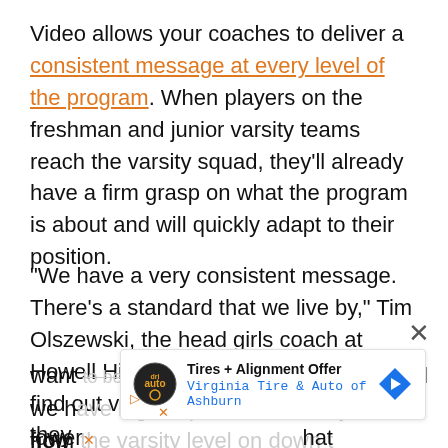Video allows your coaches to deliver a consistent message at every level of the program. When players on the freshman and junior varsity teams reach the varsity squad, they'll already have a firm grasp on what the program is about and will quickly adapt to their position.
“We have a very consistent message. There’s a standard that we live by,” Tim Olszewski, the head girls coach at Howell High School (Mich.), said. “They find out very quickly if this is a place they want [to be playing. We have high standards and we ha[ve high expectations...] now from [the lower levels so that] hat
[Figure (infographic): Advertisement overlay: Tires + Alignment Offer - Virginia Tire & Auto of Ashburn, with logo and navigation arrow icon. Close X button visible. Play and dismiss icons below.]